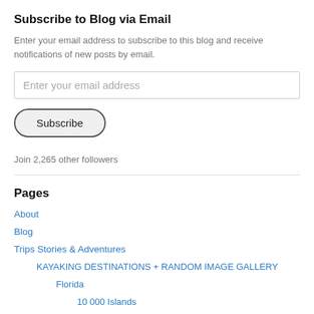Subscribe to Blog via Email
Enter your email address to subscribe to this blog and receive notifications of new posts by email.
Enter your email address
Subscribe
Join 2,265 other followers
Pages
About
Blog
Trips Stories & Adventures
KAYAKING DESTINATIONS + RANDOM IMAGE GALLERY
Florida
10 000 Islands